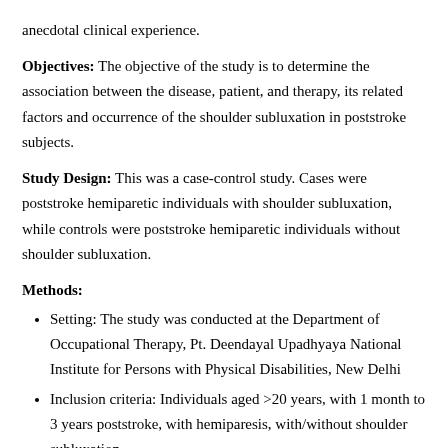anecdotal clinical experience.
Objectives: The objective of the study is to determine the association between the disease, patient, and therapy, its related factors and occurrence of the shoulder subluxation in poststroke subjects.
Study Design: This was a case-control study. Cases were poststroke hemiparetic individuals with shoulder subluxation, while controls were poststroke hemiparetic individuals without shoulder subluxation.
Methods:
Setting: The study was conducted at the Department of Occupational Therapy, Pt. Deendayal Upadhyaya National Institute for Persons with Physical Disabilities, New Delhi
Inclusion criteria: Individuals aged >20 years, with 1 month to 3 years poststroke, with hemiparesis, with/without shoulder subluxation
Exclusion criteria: Individuals with musculoskeletal disease or injury of the upper limb before the stroke, secondary concomitant medical illness
Outcome measure
i. Questionnaire: A detailed structure pro forma was utilized to